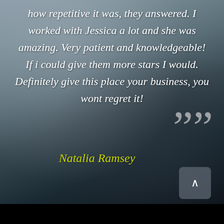[Figure (photo): Dark blurred background photo of fabric/textile material, serving as backdrop for a customer testimonial quote]
how repetitive it was, they answered. I worked with Jessica a lot and she was amazing. Very patient and knowledgeable! If i could give them more stars I would. Definitely give this place your business, you wont regret it!
””
Natalia Ramsey